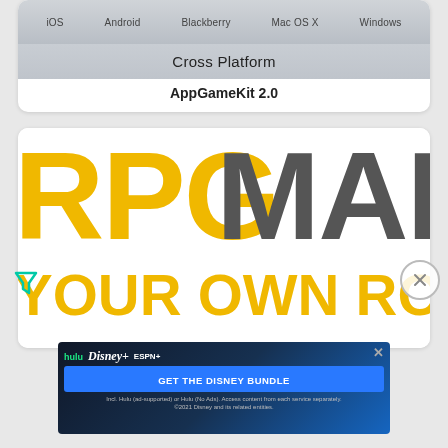[Figure (screenshot): AppGameKit 2.0 app listing showing a cross-platform badge with iOS, Android, Blackberry, Mac OS X, Windows labels]
AppGameKit 2.0
[Figure (screenshot): RPGMaker app listing showing large bold text: RPG in yellow, MAK in dark gray, YOUR OWN ROLE-PLAYIN in yellow on white background]
RPGMaker
[Figure (screenshot): Disney Bundle advertisement banner with Hulu, Disney+, ESPN+ logos and GET THE DISNEY BUNDLE call to action]